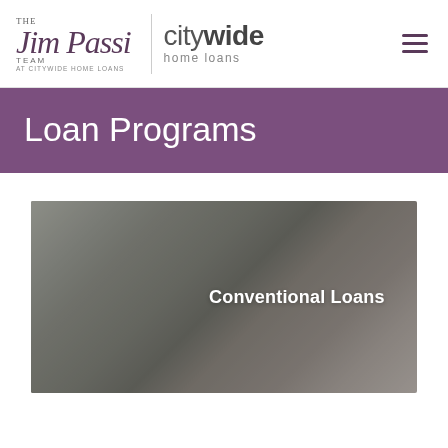[Figure (logo): The Jim Passi Team at Citywide Home Loans logo — script text on left, Citywide Home Loans text logo on right, separated by vertical divider]
Loan Programs
[Figure (photo): Photo of a middle-aged man with grey hair and beard, smiling, with text overlay 'Conventional Loans']